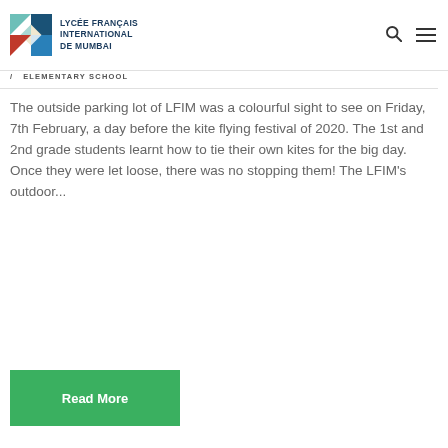LYCÉE FRANÇAIS INTERNATIONAL DE MUMBAI
/ ELEMENTARY SCHOOL
The outside parking lot of LFIM was a colourful sight to see on Friday, 7th February, a day before the kite flying festival of 2020. The 1st and 2nd grade students learnt how to tie their own kites for the big day. Once they were let loose, there was no stopping them! The LFIM's outdoor...
Read More